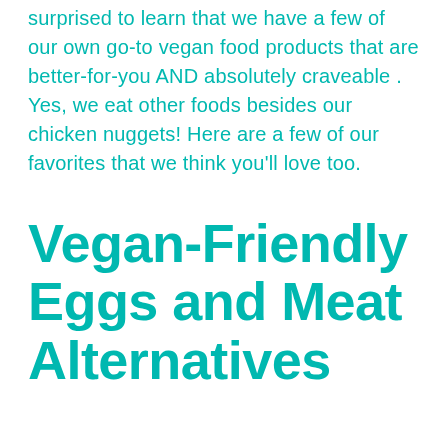surprised to learn that we have a few of our own go-to vegan food products that are better-for-you AND absolutely craveable . Yes, we eat other foods besides our chicken nuggets! Here are a few of our favorites that we think you'll love too.
Vegan-Friendly Eggs and Meat Alternatives